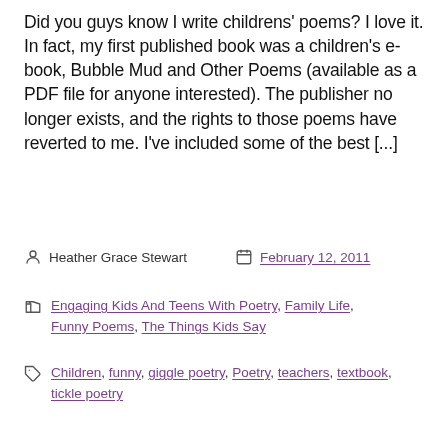Did you guys know I write childrens' poems? I love it. In fact, my first published book was a children's e-book, Bubble Mud and Other Poems (available as a PDF file for anyone interested). The publisher no longer exists, and the rights to those poems have reverted to me. I've included some of the best [...]
Heather Grace Stewart   February 12, 2011
Engaging Kids And Teens With Poetry, Family Life, Funny Poems, The Things Kids Say
Children, funny, giggle poetry, Poetry, teachers, textbook, tickle poetry